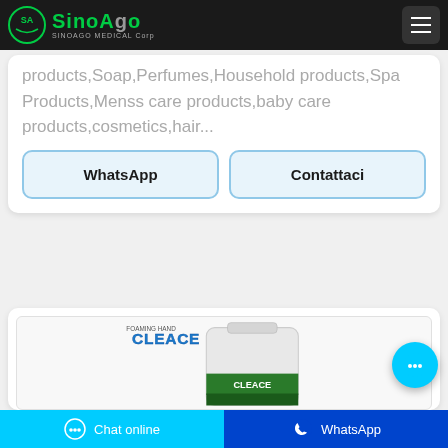[Figure (logo): SinoAgo Medical Corp logo with circular SA emblem in green and company name in green on dark background]
products,Soap,Perfumes,Household products,Spa Products,Menss care products,baby care products,cosmetics,hair...
WhatsApp
Contattaci
[Figure (photo): Cleace branded cleaning product - large white container/jerry can with green Cleace label]
Chat online
WhatsApp